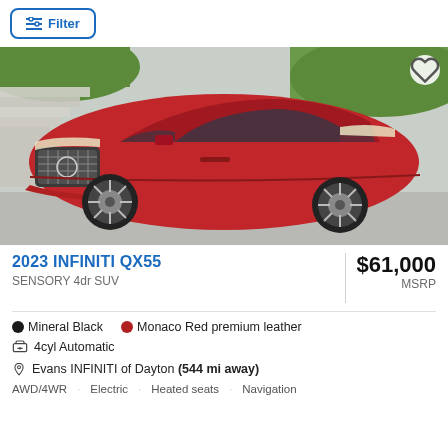Filter
[Figure (photo): Red 2023 INFINITI QX55 SUV parked outdoors, side/front 3/4 view, stairs and grass in background]
2023 INFINITI QX55
$61,000 MSRP
SENSORY 4dr SUV
Mineral Black · Monaco Red premium leather
4cyl Automatic
Evans INFINITI of Dayton (544 mi away)
AWD/4WD · Electric · Heated seats · Navigation